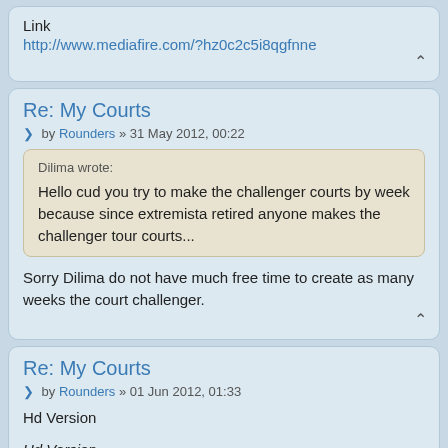Link
http://www.mediafire.com/?hz0c2c5i8qgfnne
Re: My Courts
by Rounders » 31 May 2012, 00:22
Dilima wrote:
Hello cud you try to make the challenger courts by week because since extremista retired anyone makes the challenger tour courts...
Sorry Dilima do not have much free time to create as many weeks the court challenger.
Re: My Courts
by Rounders » 01 Jun 2012, 01:33
Hd Version
Hd Version
TE2011_004.jpg (189.8 KiB) Viewed 15841 times